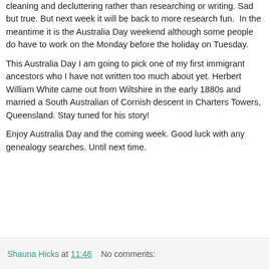cleaning and decluttering rather than researching or writing. Sad but true. But next week it will be back to more research fun.  In the meantime it is the Australia Day weekend although some people do have to work on the Monday before the holiday on Tuesday.
This Australia Day I am going to pick one of my first immigrant ancestors who I have not written too much about yet. Herbert William White came out from Wiltshire in the early 1880s and married a South Australian of Cornish descent in Charters Towers, Queensland. Stay tuned for his story!
Enjoy Australia Day and the coming week. Good luck with any genealogy searches. Until next time.
Shauna Hicks at 11:46   No comments: